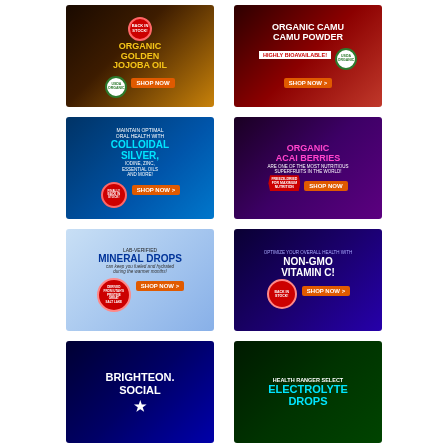[Figure (advertisement): Organic Golden Jojoba Oil ad with USDA Organic badge and Shop Now button, dark brown/gold background]
[Figure (advertisement): Organic Camu Camu Powder - Highly Bioavailable! ad with USDA Organic badge and Shop Now button, red background]
[Figure (advertisement): Colloidal Silver ad - Maintain Optimal Oral Health with Colloidal Silver, Iodine, Zinc, Essential Oils and More! Finally Back in Stock! Shop Now, blue background]
[Figure (advertisement): Organic Acai Berries - Are One of the Most Nutritious Superfruits in the World! Freeze-Dried for Maximum Nutrition, Acai Powder, Shop Now, purple background]
[Figure (advertisement): Lab-Verified Mineral Drops - can keep you fueled and hydrated during the warmer months! Derived from Utah's Pristine Great Salt Lake. Shop Now, light blue background]
[Figure (advertisement): Optimize Your Overall Health with Non-GMO Vitamin C! Back in Stock! Shop Now, dark purple/blue background]
[Figure (advertisement): Brighteon.Social ad, dark blue background]
[Figure (advertisement): Health Ranger Select Electrolyte Drops, dark green background]